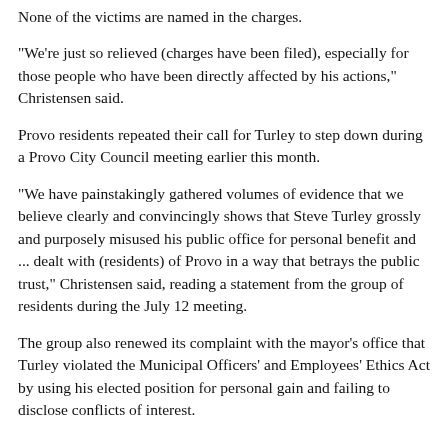None of the victims are named in the charges.
"We're just so relieved (charges have been filed), especially for those people who have been directly affected by his actions," Christensen said.
Provo residents repeated their call for Turley to step down during a Provo City Council meeting earlier this month.
"We have painstakingly gathered volumes of evidence that we believe clearly and convincingly shows that Steve Turley grossly and purposely misused his public office for personal benefit and ... dealt with (residents) of Provo in a way that betrays the public trust," Christensen said, reading a statement from the group of residents during the July 12 meeting.
The group also renewed its complaint with the mayor's office that Turley violated the Municipal Officers' and Employees' Ethics Act by using his elected position for personal gain and failing to disclose conflicts of interest.